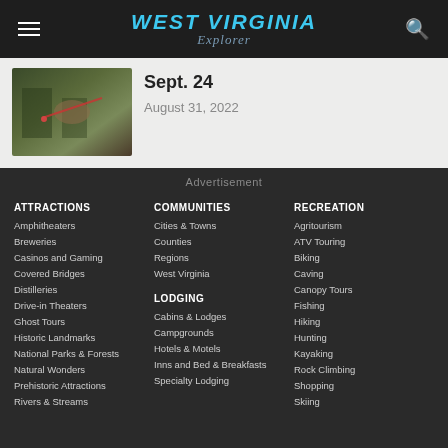WEST VIRGINIA Explorer
Sept. 24
August 31, 2022
Advertisement
ATTRACTIONS
Amphitheaters
Breweries
Casinos and Gaming
Covered Bridges
Distilleries
Drive-in Theaters
Ghost Tours
Historic Landmarks
National Parks & Forests
Natural Wonders
Prehistoric Attractions
Rivers & Streams
COMMUNITIES
Cities & Towns
Counties
Regions
West Virginia
LODGING
Cabins & Lodges
Campgrounds
Hotels & Motels
Inns and Bed & Breakfasts
Specialty Lodging
RECREATION
Agritourism
ATV Touring
Biking
Caving
Canopy Tours
Fishing
Hiking
Hunting
Kayaking
Rock Climbing
Shopping
Skiing